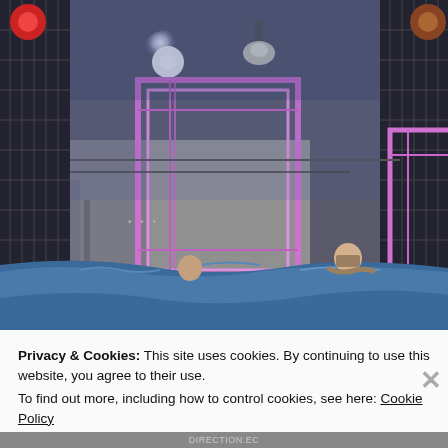[Figure (photo): A concert or event stage setup inside a large building, showing large illuminated rectangular LED frame structures, stage lights including a bright white spotlight and red lights, metal scaffolding grid structures, a person visible behind a blue tarp in the foreground, and another person visible in the mid-ground.]
Privacy & Cookies: This site uses cookies. By continuing to use this website, you agree to their use.
To find out more, including how to control cookies, see here: Cookie Policy
Close and accept
DIRECTION.EC